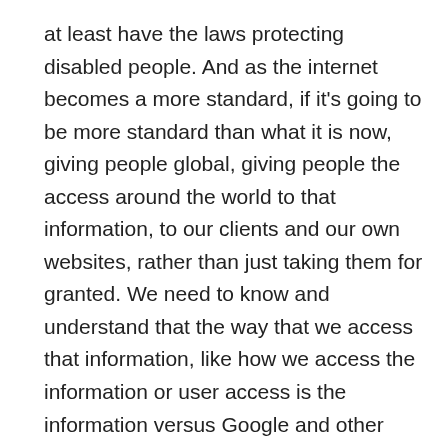at least have the laws protecting disabled people. And as the internet becomes a more standard, if it's going to be more standard than what it is now, giving people global, giving people the access around the world to that information, to our clients and our own websites, rather than just taking them for granted. We need to know and understand that the way that we access that information, like how we access the information or user access is the information versus Google and other search engines. We need to have think about people that are using things like screen readers, those people who are using so many different tools to access that same content and that same information and those barriers that they're facing.